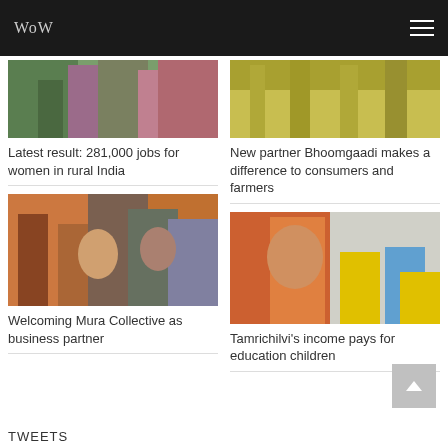WoW
[Figure (photo): Women in colorful saris standing in a field, partial top crop]
Latest result: 281,000 jobs for women in rural India
[Figure (photo): Agricultural field with crops, partial top crop]
New partner Bhoomgaadi makes a difference to consumers and farmers
[Figure (photo): Group of people standing under orange fabric drapes]
Welcoming Mura Collective as business partner
[Figure (photo): Woman in orange sari smiling in a food processing facility with workers in background]
Tamrichilvi's income pays for education children
TWEETS